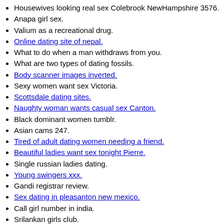Housewives looking real sex Colebrook NewHampshire 3576.
Anapa girl sex.
Valium as a recreational drug.
Online dating site of nepal. [link]
What to do when a man withdraws from you.
What are two types of dating fossils.
Body scanner images inverted. [link]
Sexy women want sex Victoria.
Scottsdale dating sites. [link]
Naughty woman wants casual sex Canton. [link]
Black dominant women tumblr.
Asian cams 247.
Tired of adult dating women needing a friend. [link]
Beautiful ladies want sex tonight Pierre. [link]
Single russian ladies dating.
Young swingers xxx. [link]
Gandi registrar review.
Sex dating in pleasanton new mexico. [link]
Call girl number in india.
Srilankan girls club.
How can i stop feeling insecure in my relationship.
Smoking weed heart problems. [link]
Adult seeking casual sex Twentynine palms California 92278. [link]